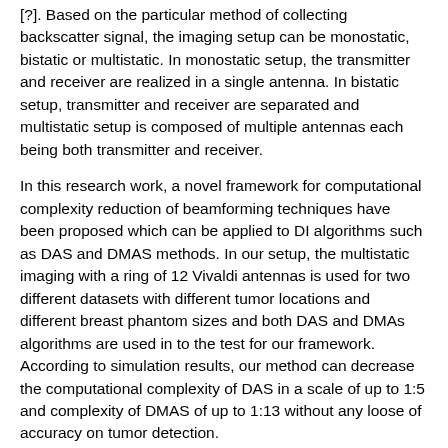[?]. Based on the particular method of collecting backscatter signal, the imaging setup can be monostatic, bistatic or multistatic. In monostatic setup, the transmitter and receiver are realized in a single antenna. In bistatic setup, transmitter and receiver are separated and multistatic setup is composed of multiple antennas each being both transmitter and receiver.
In this research work, a novel framework for computational complexity reduction of beamforming techniques have been proposed which can be applied to DI algorithms such as DAS and DMAS methods. In our setup, the multistatic imaging with a ring of 12 Vivaldi antennas is used for two different datasets with different tumor locations and different breast phantom sizes and both DAS and DMAs algorithms are used in to the test for our framework. According to simulation results, our method can decrease the computational complexity of DAS in a scale of up to 1:5 and complexity of DMAS of up to 1:13 without any loose of accuracy on tumor detection.
The rest of this paper is organized as follows: In section II we go through a brief description of DAS and DMAS approaches. In section III the proposed low complexity framework is described. Section IV presents the simulation